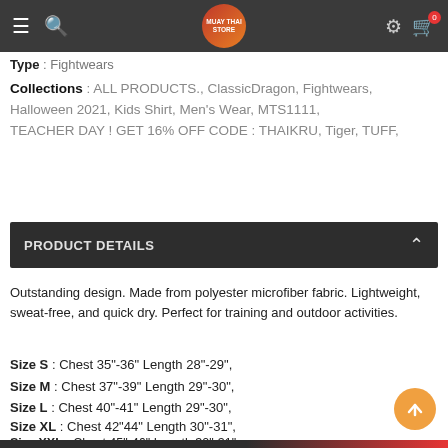Navigation bar with hamburger, search, Muay Thai Store logo, gear and cart icons
Type : Fightwears
Collections : ALL PRODUCTS., ClassicDragon, Fightwears, Halloween 2021, Kids Shirt, Men's Wear, MTS1111, TEACHER DAY ! GET 16% OFF CODE : THAIKRU, Tiger, TUFF,
PRODUCT DETAILS
Outstanding design. Made from polyester microfiber fabric. Lightweight, sweat-free, and quick dry. Perfect for training and outdoor activities.
Size S : Chest 35"-36" Length 28"-29",
Size M : Chest 37"-39" Length 29"-30",
Size L : Chest 40"-41" Length 29"-30",
Size XL : Chest 42"44" Length 30"-31",
Size XXL : Chest 45"-46" Length 30"-31"